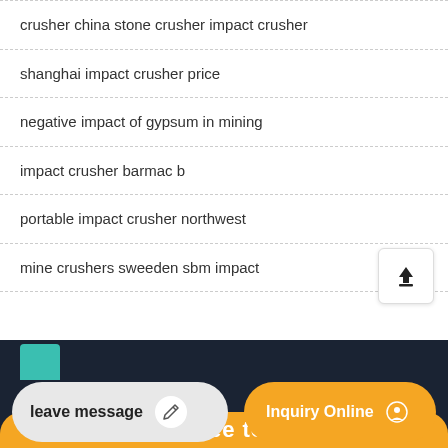crusher china stone crusher impact crusher
shanghai impact crusher price
negative impact of gypsum in mining
impact crusher barmac b
portable impact crusher northwest
mine crushers sweeden sbm impact
[Figure (screenshot): Bottom navigation bar with 'leave message' button and 'Inquiry Online' button on dark background, with partial text 'Feel Free to Con' visible]
Feel Free to Con